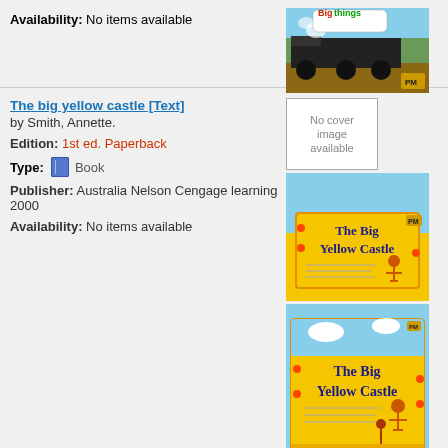Availability: No items available
[Figure (photo): Book cover: Big things - steam train photo with PM logo]
The big yellow castle [Text]
by Smith, Annette.
Edition: 1st ed. Paperback
Type: Book
Publisher: Australia Nelson Cengage learning 2000
Availability: No items available
[Figure (photo): No cover image available placeholder box]
[Figure (photo): Book cover: The Big Yellow Castle - small version]
[Figure (photo): Book cover: The Big Yellow Castle - large version]
Billy at school (Pack of 6) [Bag]
by Giles, Jenny.
Edition: 1st ed. Paperback
[Figure (photo): No cover image available placeholder box]